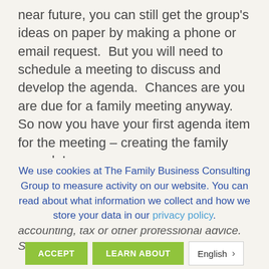near future, you can still get the group's ideas on paper by making a phone or email request.  But you will need to schedule a meeting to discuss and develop the agenda.  Chances are you are due for a family meeting anyway.  So now you have your first agenda item for the meeting – creating the family agenda!
Articles purchased or downloaded from The Family Business Consulting Group® are designed to provide general information and are not intended to provide specific legal, accounting, tax or other professional advice. Since your
We use cookies at The Family Business Consulting Group to measure activity on our website. You can read about what information we collect and how we store your data in our privacy policy.